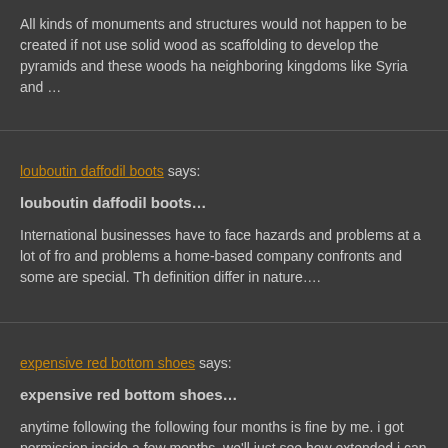All kinds of monuments and structures would not happen to be created if not use solid wood as scaffolding to develop the pyramids and these woods ha neighboring kingdoms like Syria and …
louboutin daffodil boots says:
louboutin daffodil boots…
International businesses have to face hazards and problems at a lot of fro and problems a home-based company confronts and some are special. Th definition differ in nature….
expensive red bottom shoes says:
expensive red bottom shoes…
anytime following the following four months is fine by me. i got permission inside a few months, we'll just see how extended i can hold out for. words- coming….